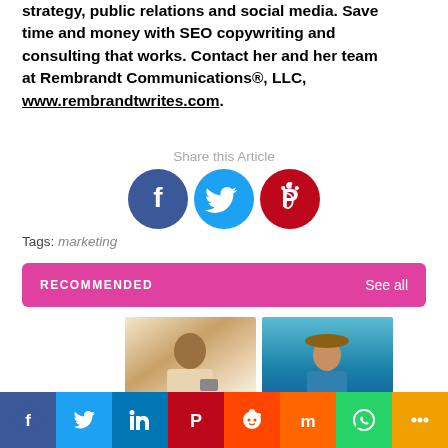strategy, public relations and social media. Save time and money with SEO copywriting and consulting that works. Contact her and her team at Rembrandt Communications®, LLC, www.rembrandtwrites.com.
Share this Article
[Figure (infographic): Social share icons: Facebook (blue circle), Twitter (blue circle), Pinterest (red circle)]
Tags: marketing
RECOMMENDED   See all
[Figure (photo): Young woman looking at smartphone, blurred warm light background]
[Figure (photo): Woman in sun hat and sunglasses at poolside, blue water background]
[Figure (infographic): Social sharing footer bar with icons: Facebook, Twitter, LinkedIn, Pinterest, Reddit, Mix, WhatsApp, More]